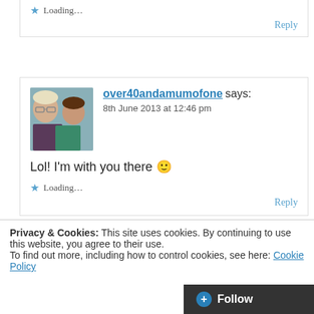★ Loading...
Reply
[Figure (photo): Profile photo of two people, an adult and a child, taking a selfie]
over40andamumofone says:
8th June 2013 at 12:46 pm
Lol! I'm with you there 🙂
★ Loading...
Reply
Privacy & Cookies: This site uses cookies. By continuing to use this website, you agree to their use.
To find out more, including how to control cookies, see here: Cookie Policy
Close and accept
+ Follow